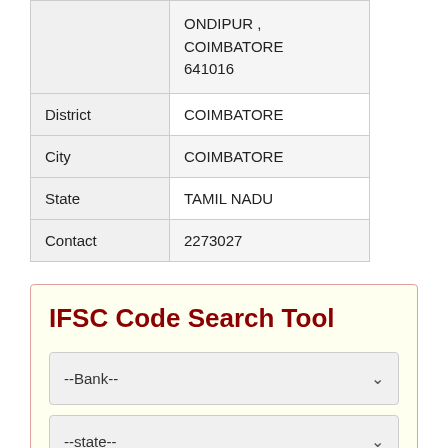|  |  |
| --- | --- |
|  | ONDIPUR COIMBATORE 641016 |
| District | COIMBATORE |
| City | COIMBATORE |
| State | TAMIL NADU |
| Contact | 2273027 |
IFSC Code Search Tool
--Bank--
--state--